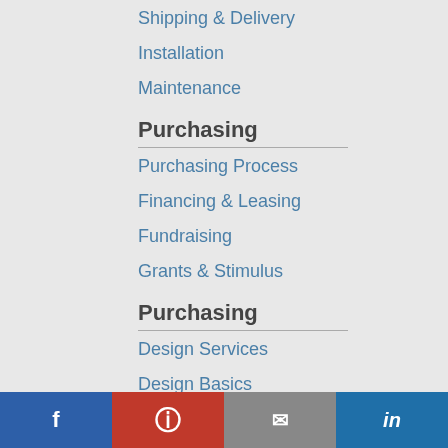Shipping & Delivery
Installation
Maintenance
Purchasing
Purchasing Process
Financing & Leasing
Fundraising
Grants & Stimulus
Purchasing
Design Services
Design Basics
Color Options
Live Color Tool
f  [Pinterest]  [email]  in